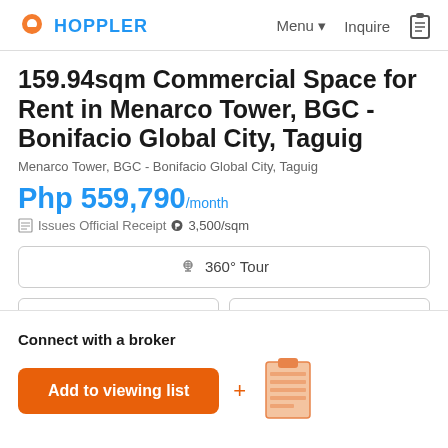HOPPLER | Menu ▾  Inquire
159.94sqm Commercial Space for Rent in Menarco Tower, BGC - Bonifacio Global City, Taguig
Menarco Tower, BGC - Bonifacio Global City, Taguig
Php 559,790/month
Issues Official Receipt ₱ 3,500/sqm
360° Tour
Video
Live viewing
Connect with a broker
Add to viewing list